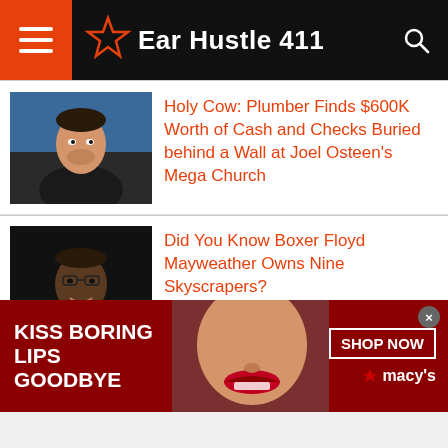Ear Hustle 411
Holy Cow: Plumber Finds $600K Worth of Cash and Checks Buried behind a Wall at Joel Osteen's Mega Church
Did You Know Boxer Floyd Mayweather Owns Nine Skyscrapers?
Attorney General Report Says New York Gov. Andrew Cuomo Sexually
[Figure (photo): Advertisement banner: 'KISS BORING LIPS GOODBYE' with a woman's face wearing red lipstick, SHOP NOW button, and Macy's star logo]